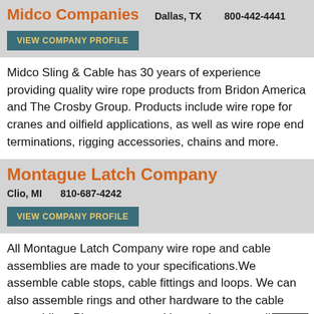Midco Companies  Dallas, TX  800-442-4441
VIEW COMPANY PROFILE
Midco Sling & Cable has 30 years of experience providing quality wire rope products from Bridon America and The Crosby Group. Products include wire rope for cranes and oilfield applications, as well as wire rope end terminations, rigging accessories, chains and more.
Montague Latch Company
Clio, MI  810-687-4242
VIEW COMPANY PROFILE
All Montague Latch Company wire rope and cable assemblies are made to your specifications. We assemble cable stops, cable fittings and loops. We can also assemble rings and other hardware to the cable assemblies. Please contact with questions regarding specific applications.